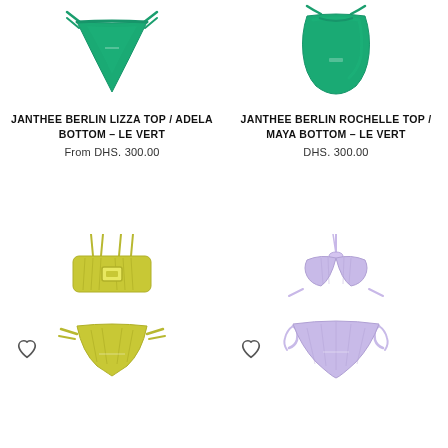[Figure (photo): Green bikini bottom with V-shape and tie sides (Janthee Berlin Lizza Top / Adela Bottom - Le Vert)]
[Figure (photo): Green one-piece swimsuit (Janthee Berlin Rochelle Top / Maya Bottom - Le Vert)]
JANTHEE BERLIN LIZZA TOP / ADELA BOTTOM – LE VERT
From DHS. 300.00
JANTHEE BERLIN ROCHELLE TOP / MAYA BOTTOM – LE VERT
DHS. 300.00
[Figure (photo): Yellow-green ruched bikini top and bottom set (Janthee Berlin)]
[Figure (photo): Lavender/lilac bikini top and bottom set with halter tie (Janthee Berlin)]